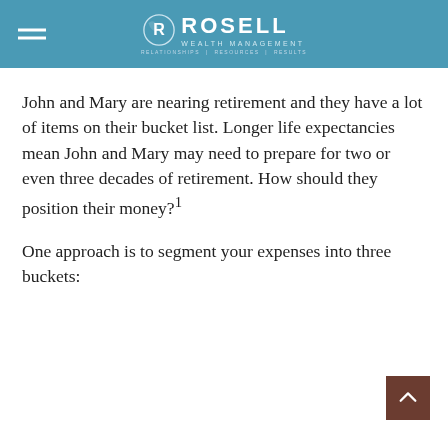ROSELL WEALTH MANAGEMENT
John and Mary are nearing retirement and they have a lot of items on their bucket list. Longer life expectancies mean John and Mary may need to prepare for two or even three decades of retirement. How should they position their money?¹
One approach is to segment your expenses into three buckets: